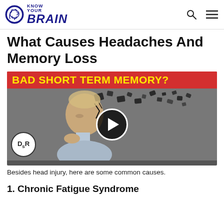KNOW YOUR BRAIN
What Causes Headaches And Memory Loss
[Figure (screenshot): Video thumbnail with red banner reading 'BAD SHORT TERM MEMORY?' in yellow text, showing a person with a disintegrating head, a play button overlay, and a DSR logo badge in the lower left.]
Besides head injury, here are some common causes.
1. Chronic Fatigue Syndrome